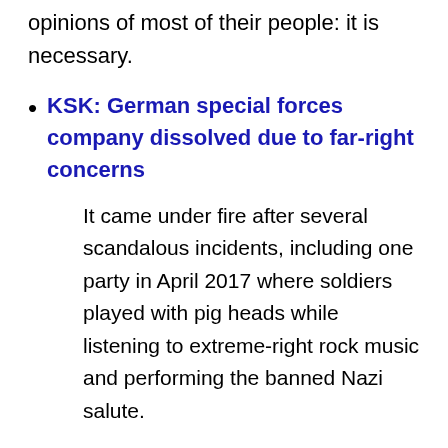opinions of most of their people: it is necessary.
KSK: German special forces company dissolved due to far-right concerns
It came under fire after several scandalous incidents, including one party in April 2017 where soldiers played with pig heads while listening to extreme-right rock music and performing the banned Nazi salute.
The remaining KSK soldiers have